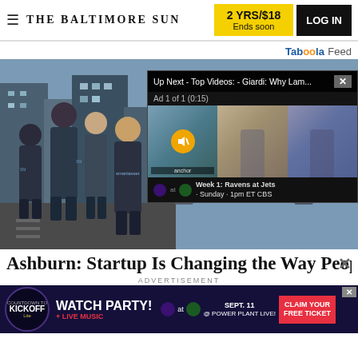≡ THE BALTIMORE SUN | 2 YRS/$18 Ends soon | LOG IN
Taboola Feed
[Figure (photo): Group of people wearing SmartAsset branded shirts standing on a city street, with a video overlay popup showing 'Up Next - Top Videos: - Giardi: Why Lam...' and 'Ad 1 of 1 (0:15)' with three sports commentators and a Ravens vs Jets game bar showing 'Week 1: Ravens at Jets · Sunday · 1pm ET CBS']
Ashburn: Startup Is Changing the Way Peop
ADVERTISEMENT
[Figure (infographic): Ravens Watch Party advertisement banner: dark purple background with Ravens and Jets logos, text 'WATCH PARTY! + LIVE MUSIC SEPT. 11 @ POWER PLANT LIVE!' and 'CLAIM YOUR FREE TICKET' button, Countdown to Kickoff Lite branding]